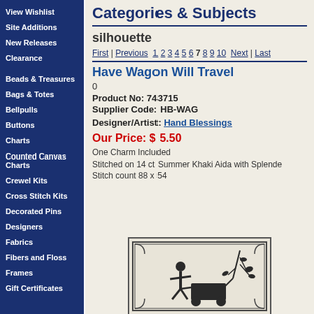View Wishlist
Site Additions
New Releases
Clearance
Beads & Treasures
Bags & Totes
Bellpulls
Buttons
Charts
Counted Canvas Charts
Crewel Kits
Cross Stitch Kits
Decorated Pins
Designers
Fabrics
Fibers and Floss
Frames
Gift Certificates
Categories & Subjects
silhouette
First | Previous  1 2 3 4 5 6 7 8 9 10  Next | Last
Have Wagon Will Travel
0
Product No: 743715
Supplier Code: HB-WAG
Designer/Artist: Hand Blessings
Our Price: $ 5.50
One Charm Included
Stitched on 14 ct Summer Khaki Aida with Splende
Stitch count 88 x 54
[Figure (photo): Cross stitch design showing a silhouette scene with a person and wagon under branches, in a decorative border frame]